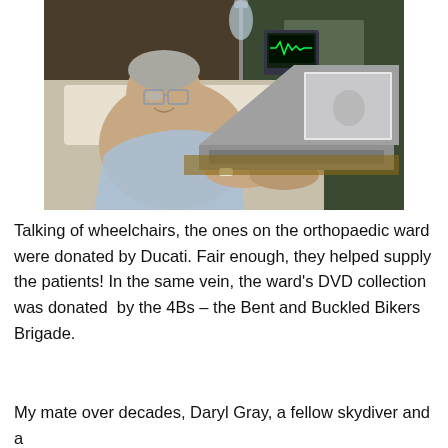[Figure (photo): An elderly man in a hospital bed, shirtless with a hospital gown draped over him, wearing glasses, typing on an Apple MacBook laptop. Medical equipment including an IV drip stand and monitors are visible in the background of the hospital ward.]
Talking of wheelchairs, the ones on the orthopaedic ward were donated by Ducati. Fair enough, they helped supply the patients! In the same vein, the ward's DVD collection was donated  by the 4Bs – the Bent and Buckled Bikers Brigade.
My mate over decades, Daryl Gray, a fellow skydiver and a